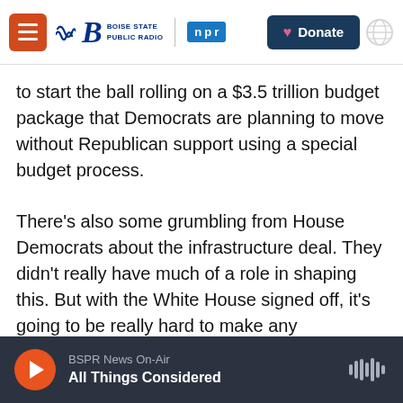Boise State Public Radio | NPR | Donate
to start the ball rolling on a $3.5 trillion budget package that Democrats are planning to move without Republican support using a special budget process.
There's also some grumbling from House Democrats about the infrastructure deal. They didn't really have much of a role in shaping this. But with the White House signed off, it's going to be really hard to make any fundamental changes to it. Most Democrats are really just focused on this next budget deal, which would include major new government programs like expanding Medicare,
BSPR News On-Air | All Things Considered